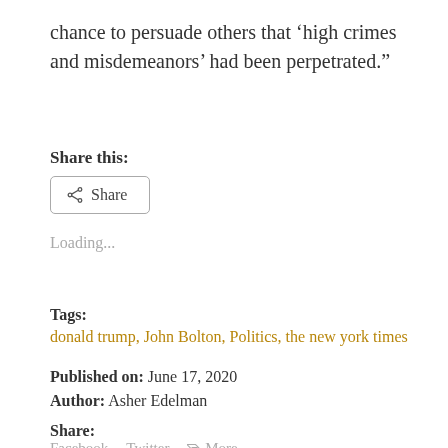chance to persuade others that ‘high crimes and misdemeanors’ had been perpetrated.”
Share this:
[Figure (other): Share button with share icon]
Loading...
Tags:
donald trump, John Bolton, Politics, the new york times
Published on: June 17, 2020
Author: Asher Edelman
Share:
Facebook   Twitter   More